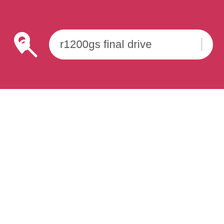[Figure (screenshot): Mobile app header bar with a pink/crimson background featuring a white location-pin search logo on the left, and a rounded white search input box containing the text 'r1200gs final drive' with a cursor indicator on the right.]
r1200gs final drive